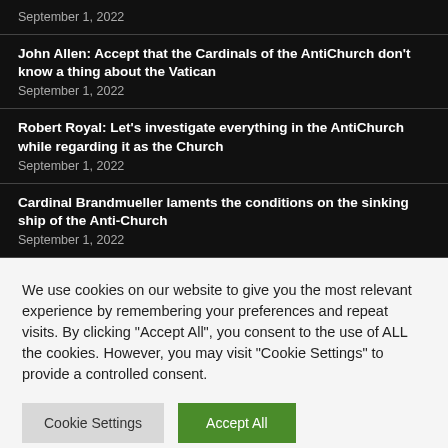September 1, 2022
John Allen: Accept that the Cardinals of the AntiChurch don't know a thing about the Vatican
September 1, 2022
Robert Royal: Let's investigate everything in the AntiChurch while regarding it as the Church
September 1, 2022
Cardinal Brandmueller laments the conditions on the sinking ship of the Anti-Church
September 1, 2022
We use cookies on our website to give you the most relevant experience by remembering your preferences and repeat visits. By clicking "Accept All", you consent to the use of ALL the cookies. However, you may visit "Cookie Settings" to provide a controlled consent.